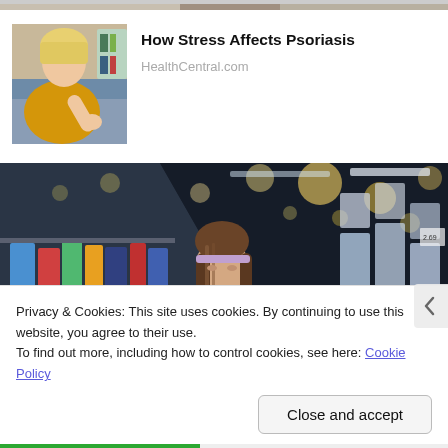[Figure (photo): Partial view of a cropped image at the very top of the page, barely visible]
[Figure (photo): Thumbnail photo of a blonde woman in a yellow sweater looking at her arm/elbow, seated on a couch]
How Stress Affects Psoriasis
HealthCentral.com
[Figure (photo): Large photo of a young woman with long brown hair browsing products on shelves in a grocery/pharmacy store, with bokeh lights in the background]
Privacy & Cookies: This site uses cookies. By continuing to use this website, you agree to their use.
To find out more, including how to control cookies, see here: Cookie Policy
Close and accept